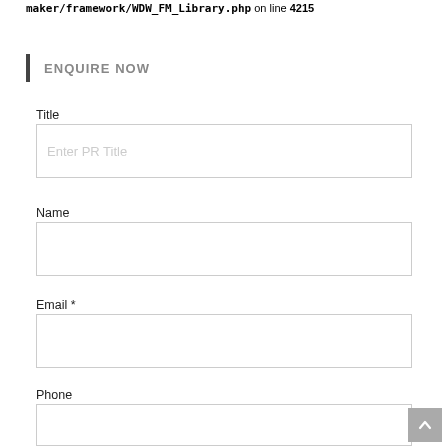maker/framework/WDW_FM_Library.php on line 4215
ENQUIRE NOW
Title
Enter PR Title
Name
Email *
Phone